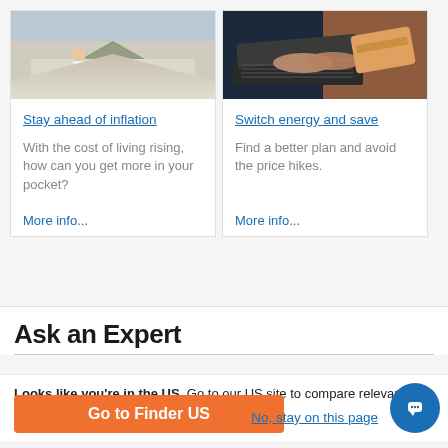[Figure (photo): Person crouching on a house rooftop near a dormer window]
Stay ahead of inflation
With the cost of living rising, how can you get more in your pocket?
More info...
[Figure (photo): Hands typing on a laptop keyboard with warm backlight]
Switch energy and save
Find a better plan and avoid the price hikes.
More info...
Ask an Expert
Looks like you're in the US. Go to our US site to compare relevant products for your country.
Go to Finder US
No, stay on this page